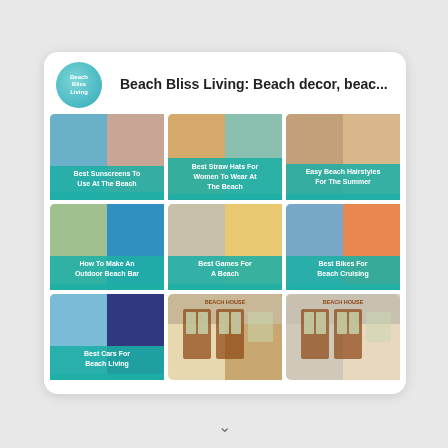Beach Bliss Living: Beach decor, beac...
[Figure (screenshot): Pinterest board screenshot showing Beach Bliss Living board with 9 visible pin thumbnails arranged in a 3x3 grid. Pins include: Best Sunscreens To Use At The Beach, Best Straw Hats For Women To Wear At The Beach, Easy Beach Hairstyles For The Summer, How To Make An Outdoor Beach Bar, Best Games For A Beach, Best Bikes For Beach Cruising, Best Cars For Beach Living, and beach house exterior photos.]